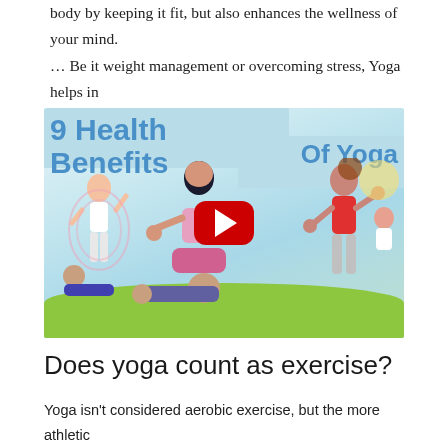body by keeping it fit, but also enhances the wellness of your mind. … Be it weight management or overcoming stress, Yoga helps in transforming the physical and mental manifestations of a problem.
[Figure (screenshot): YouTube video thumbnail titled '9 Health Benefits Of Yoga' showing illustrated yoga poses with a red YouTube play button overlay.]
Does yoga count as exercise?
Yoga isn't considered aerobic exercise, but the more athletic varieties, like power yoga, will make you sweat. And even though